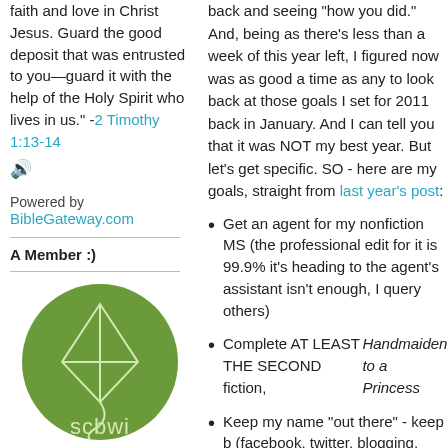faith and love in Christ Jesus. Guard the good deposit that was entrusted to you—guard it with the help of the Holy Spirit who lives in us." -2 Timothy 1:13-14
[Figure (illustration): Speaker/audio icon]
Powered by BibleGateway.com
A Member :)
[Figure (logo): SCBWI logo - green circle with kite design and text 'scbwi']
back and seeing "how you did." And, being as there's less than a week of this year left, I figured now was as good a time as any to look back at those goals I set for 2011 back in January. And I can tell you that it was NOT my best year. But let's get specific. SO - here are my goals, straight from last year's post:
Get an agent for my nonfiction MS (the professional edit for it is 99.9% it's heading to the agent's assistant isn't enough, I query others)
Complete AT LEAST THE SECOND fiction, Handmaiden to a Princess
Keep my name "out there" - keep b (facebook, twitter, blogging, reading writing for group blogs, etc.)
Keep my "life priorities" in order (sp keeping the house clean(er), being
Once a month (generally on the fi